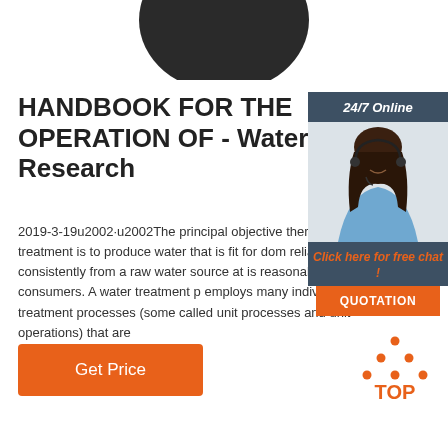[Figure (photo): Partial view of a dark rounded object (top of a head) against a white background, cropped at top of page]
HANDBOOK FOR THE OPERATION OF - Water Research
2019-3-19u2002·u2002The principal objective there water treatment is to produce water that is fit for dom reliably and consistently from a raw water source at is reasonable to the consumers. A water treatment p employs many individual treatment processes (some called unit processes and unit operations) that are
[Figure (photo): 24/7 Online support widget showing a smiling woman with headset, dark blue/grey background, with 'Click here for free chat!' text and orange QUOTATION button]
[Figure (other): Orange Get Price button]
[Figure (logo): TOP logo with orange dots arranged in triangle shape above the text TOP in orange]